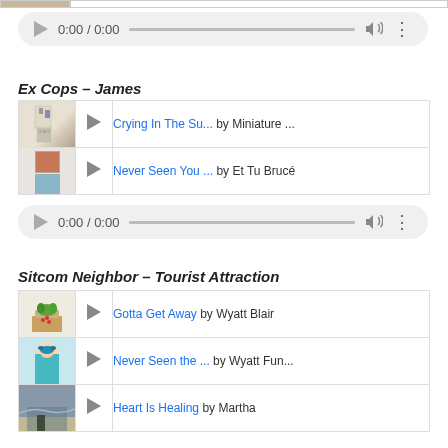[Figure (screenshot): Partial album thumbnail and white bar at top]
[Figure (screenshot): Audio player showing 0:00 / 0:00 with play button, progress bar, volume and more icons]
Ex Cops – James
| Thumb | Play | Song Info |
| --- | --- | --- |
| [album art] | ▶ | Crying In The Su...  by Miniature ... |
| [album art] | ▶ | Never Seen You ...  by Et Tu Brucé |
[Figure (screenshot): Audio player showing 0:00 / 0:00 with play button, progress bar, volume and more icons]
Sitcom Neighbor – Tourist Attraction
| Thumb | Play | Song Info |
| --- | --- | --- |
| [album art] | ▶ | Gotta Get Away  by Wyatt Blair |
| [album art] | ▶ | Never Seen the ...  by Wyatt Fun... |
| [album art] | ▶ | Heart Is Healing  by Martha |